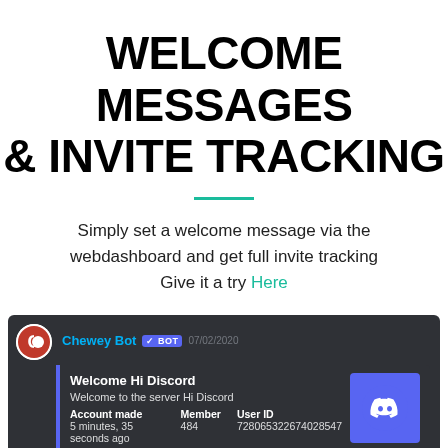WELCOME MESSAGES & INVITE TRACKING
Simply set a welcome message via the webdashboard and get full invite tracking Give it a try Here
[Figure (screenshot): Discord bot message screenshot showing Chewey Bot welcome message with user info: Welcome Hi Discord, Welcome to the server Hi Discord, Account made: 5 minutes 35 seconds ago, Member: 484, User ID: 728065322674028547, Profile, Invited by]